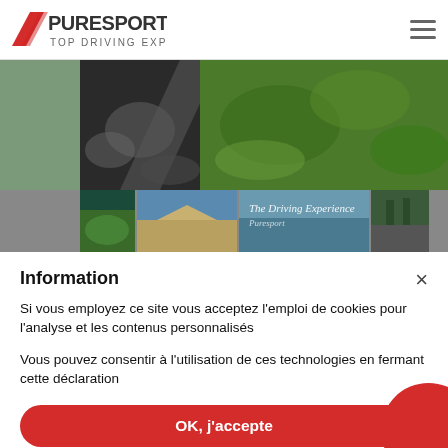[Figure (logo): Puresport Top Driving Experience logo with red swoosh and grey text]
[Figure (photo): Website screenshot header photos: main landscape photo showing rocky terrain and green moss/vegetation, with a row of 4 thumbnail photos below]
Information
Si vous employez ce site vous acceptez l'emploi de cookies pour l'analyse et les contenus personnalisés
Vous pouvez consentir à l'utilisation de ces technologies en fermant cette déclaration